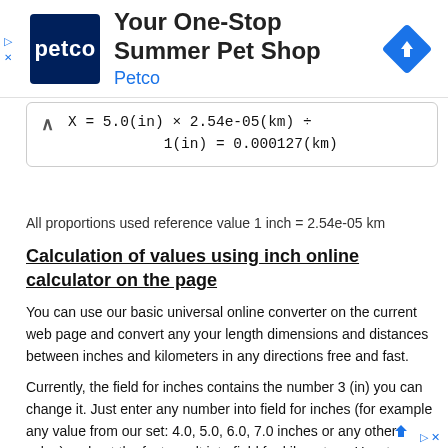[Figure (other): Petco advertisement banner with Petco logo (dark blue square with 'petco' text), headline 'Your One-Stop Summer Pet Shop', subtext 'Petco', and a blue navigation/direction diamond icon on the right. Left side has a small play triangle and X ad controls.]
All proportions used reference value 1 inch = 2.54e-05 km
Calculation of values using inch online calculator on the page
You can use our basic universal online converter on the current web page and convert any your length dimensions and distances between inches and kilometers in any directions free and fast.
Currently, the field for inches contains the number 3 (in) you can change it. Just enter any number into field for inches (for example any value from our set: 4.0, 5.0, 6.0, 7.0 inches or any other value) and get the fast result into field for kilometers. How to use the inch online calculator you can more detail read at this link manual for the calculator.
[Figure (other): Bottom advertisement banner partial view with blue arrow icon]